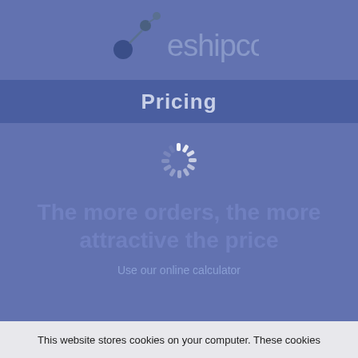[Figure (logo): eshipco logo with network/node icon on left and text 'eshipco' in blue-gray on a medium blue background]
Pricing
[Figure (other): Loading spinner icon (circular loading indicator with white dashes in a radial pattern)]
The more orders, the more attractive the price
Use our online calculator
This website stores cookies on your computer. These cookies